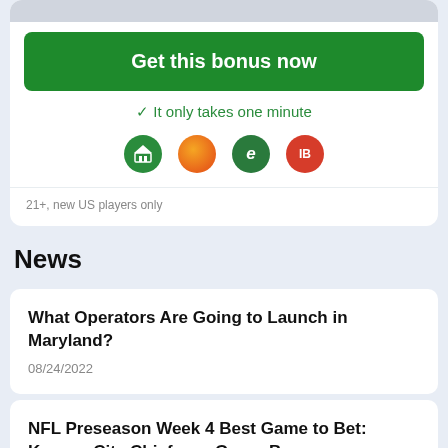Get this bonus now
✓ It only takes one minute
[Figure (illustration): Four circular brand logos/icons in a row: green bank icon, orange circle, green e icon, red IB icon]
21+, new US players only
News
What Operators Are Going to Launch in Maryland?
08/24/2022
NFL Preseason Week 4 Best Game to Bet: Kansas City Chiefs vs. Green B...